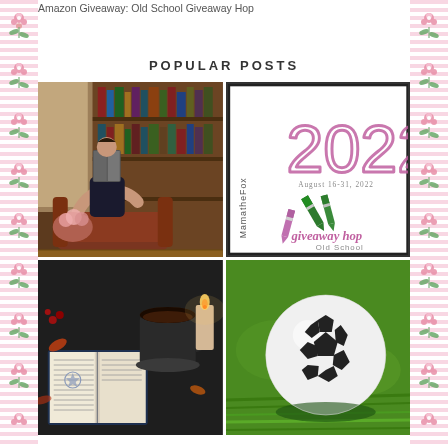Amazon Giveaway: Old School Giveaway Hop
POPULAR POSTS
[Figure (photo): Person lying on a leather armchair reading a book in a warm library with bookshelves and flowers]
[Figure (illustration): MamatheFox 2022 giveaway hop graphic — August 16-31, 2022, with crayons illustration and 'giveaway hop Old School' text in pink script]
[Figure (photo): Open book with a cup of tea, a lit candle, and autumn leaves on a dark surface]
[Figure (photo): Black and white soccer ball on green grass]